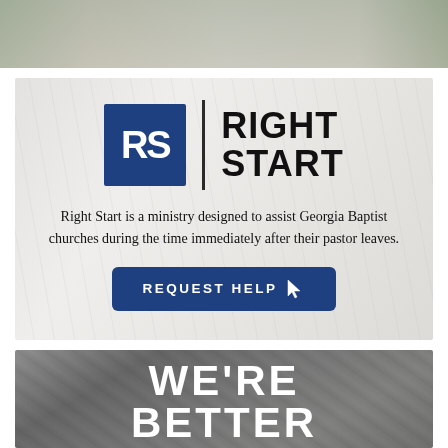[Figure (photo): Top portion of a building/church exterior with some greenery visible, partially cropped at top of page]
[Figure (infographic): Right Start ministry advertisement banner on marble-textured background. Shows RS logo (blue square with white RS letters), vertical divider, RIGHT START title text, descriptive text about the ministry, and a REQUEST HELP button with cursor icon.]
[Figure (photo): Black and white photo of people's hands joined together in a circle, with WE'RE BETTER text overlaid in white bold letters]